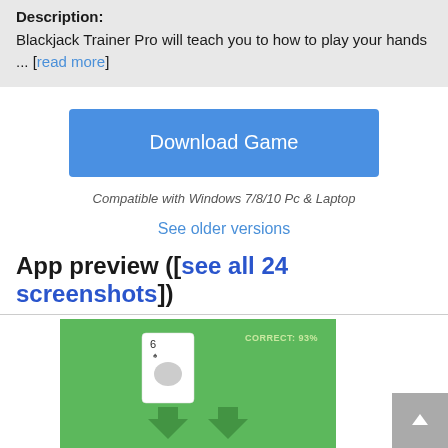Description: Blackjack Trainer Pro will teach you to how to play your hands ... [read more]
Download Game
Compatible with Windows 7/8/10 Pc & Laptop
See older versions
App preview ([see all 24 screenshots])
[Figure (screenshot): App screenshot showing a blackjack game interface with green background, a playing card showing 6, and text 'CORRECT: 93%']